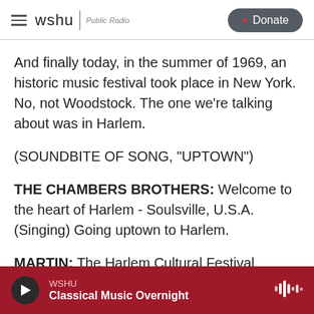wshu | Public Radio  Donate
And finally today, in the summer of 1969, an historic music festival took place in New York. No, not Woodstock. The one we're talking about was in Harlem.
(SOUNDBITE OF SONG, "UPTOWN")
THE CHAMBERS BROTHERS: Welcome to the heart of Harlem - Soulsville, U.S.A. (Singing) Going uptown to Harlem.
MARTIN: The Harlem Cultural Festival featured legendary artists that included Stevie Wonder, B.B.
WSHU  Classical Music Overnight